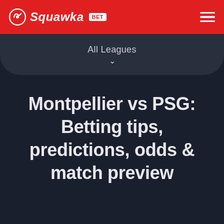Squawka BET
All Leagues
Montpellier vs PSG: Betting tips, predictions, odds & match preview